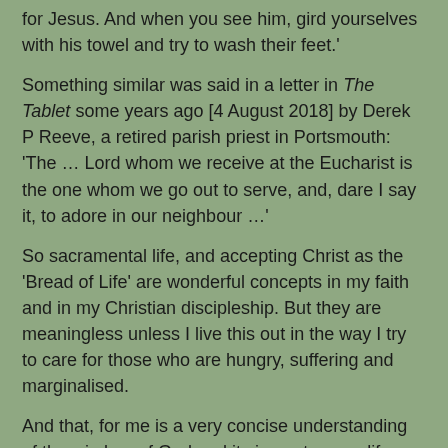for Jesus. And when you see him, gird yourselves with his towel and try to wash their feet.'
Something similar was said in a letter in The Tablet some years ago [4 August 2018] by Derek P Reeve, a retired parish priest in Portsmouth: 'The … Lord whom we receive at the Eucharist is the one whom we go out to serve, and, dare I say it, to adore in our neighbour …'
So sacramental life, and accepting Christ as the 'Bread of Life' are wonderful concepts in my faith and in my Christian discipleship. But they are meaningless unless I live this out in the way I try to care for those who are hungry, suffering and marginalised.
And that, for me is a very concise understanding of the wisdom of God and its impact on my life.
And so, may all we think, say and do be to the praise, honour and glory of God, + Father, Son and Holy Spirit, Amen.